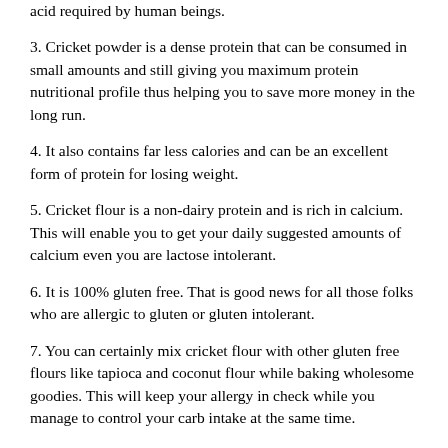acid required by human beings.
3. Cricket powder is a dense protein that can be consumed in small amounts and still giving you maximum protein nutritional profile thus helping you to save more money in the long run.
4. It also contains far less calories and can be an excellent form of protein for losing weight.
5. Cricket flour is a non-dairy protein and is rich in calcium. This will enable you to get your daily suggested amounts of calcium even you are lactose intolerant.
6. It is 100% gluten free. That is good news for all those folks who are allergic to gluten or gluten intolerant.
7. You can certainly mix cricket flour with other gluten free flours like tapioca and coconut flour while baking wholesome goodies. This will keep your allergy in check while you manage to control your carb intake at the same time.